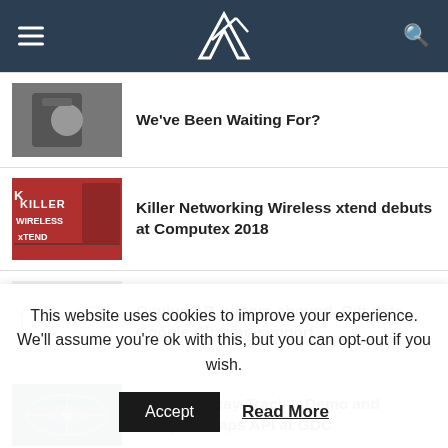VR [logo] navigation bar with hamburger menu and search icon
We've Been Waiting For?
Killer Networking Wireless xtend debuts at Computex 2018
Oculus AR rumors abound, Rift gets Google Chrome support
Star Wars Ray-Tracing Demo and Google's Maps API at GDC
This website uses cookies to improve your experience. We'll assume you're ok with this, but you can opt-out if you wish.
Accept
Read More